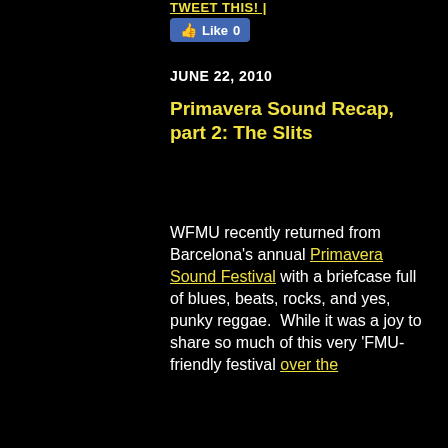TWEET THIS!
[Figure (screenshot): Facebook Like button showing 0 likes]
JUNE 22, 2010
Primavera Sound Recap, part 2: The Slits
WFMU recently returned from Barcelona's annual Primavera Sound Festival with a briefcase full of blues, beats, rocks, and yes, punky reggae.  While it was a joy to share so much of this very 'FMU-friendly festival over the